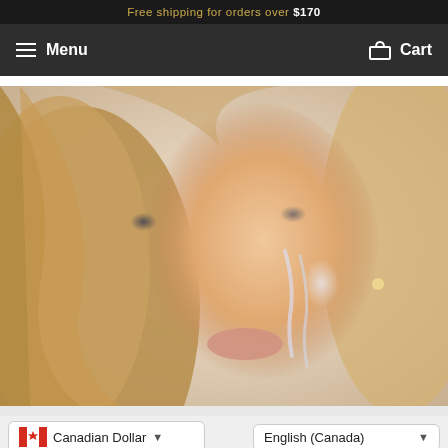Free shipping for orders over $170
Menu   Cart
[Figure (photo): Close-up portrait of a blonde woman with dramatic smudged eye makeup, glitter tears running down her cheek, long eyelashes, nude lips, and a nose piercing, on a white background]
Canadian Dollar
English (Canada)